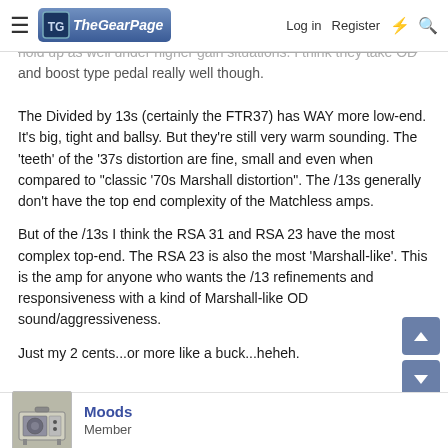The Gear Page — Log in  Register
hold up as well under higher gain situations. I think they take OD and boost type pedal really well though.
The Divided by 13s (certainly the FTR37) has WAY more low-end. It's big, tight and ballsy. But they're still very warm sounding. The 'teeth' of the '37s distortion are fine, small and even when compared to "classic '70s Marshall distortion". The /13s generally don't have the top end complexity of the Matchless amps.
But of the /13s I think the RSA 31 and RSA 23 have the most complex top-end. The RSA 23 is also the most 'Marshall-like'. This is the amp for anyone who wants the /13 refinements and responsiveness with a kind of Marshall-like OD sound/aggressiveness.
Just my 2 cents...or more like a buck...heheh.
Moods
Member